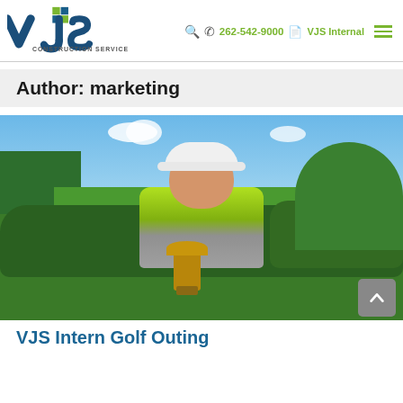262-542-9000   VJS Internal
[Figure (logo): VJS Construction Services logo — dark blue stylized 'vjs' letters with green square accent, and 'CONSTRUCTION SERVICES' text below]
Author: marketing
[Figure (photo): Young man in a neon green and gray polo shirt holding a bronze golf trophy, standing outdoors on a golf course with trees and blue sky in background]
VJS Intern Golf Outing